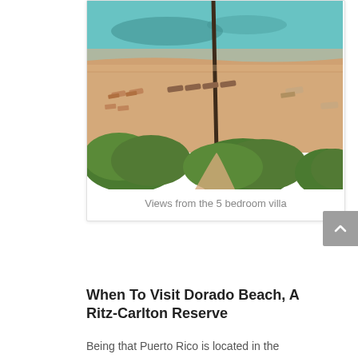[Figure (photo): Aerial view of a beach with white sand, turquoise water, lounge chairs, green shrubs, and a tall palm tree in the center foreground, taken from a villa balcony.]
Views from the 5 bedroom villa
When To Visit Dorado Beach, A Ritz-Carlton Reserve
Being that Puerto Rico is located in the